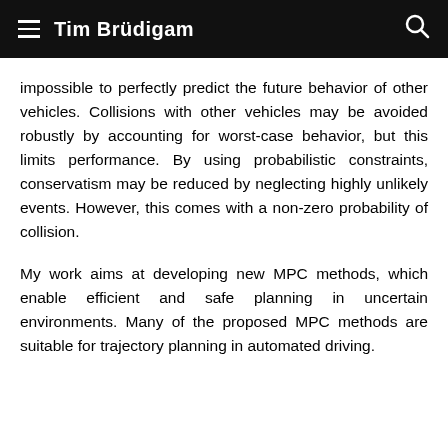Tim Brüdigam
impossible to perfectly predict the future behavior of other vehicles. Collisions with other vehicles may be avoided robustly by accounting for worst-case behavior, but this limits performance. By using probabilistic constraints, conservatism may be reduced by neglecting highly unlikely events. However, this comes with a non-zero probability of collision.
My work aims at developing new MPC methods, which enable efficient and safe planning in uncertain environments. Many of the proposed MPC methods are suitable for trajectory planning in automated driving.